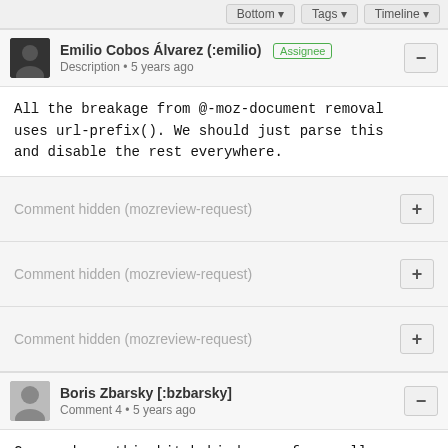Bottom ▾  Tags ▾  Timeline ▾
Emilio Cobos Álvarez (:emilio)  Assignee
Description • 5 years ago
All the breakage from @-moz-document removal uses url-prefix(). We should just parse this and disable the rest everywhere.
Comment hidden (mozreview-request)
Comment hidden (mozreview-request)
Comment hidden (mozreview-request)
Boris Zbarsky [:bzbarsky]
Comment 4 • 5 years ago
Can we have this bit behind a pref as well so we can try removing it at some point?